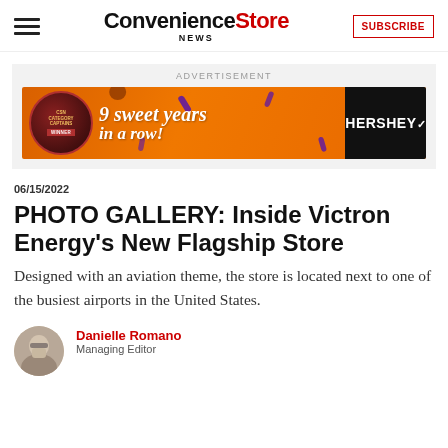Convenience Store News — SUBSCRIBE
[Figure (infographic): Hershey advertisement banner: '9 sweet years in a row!' with Captains award medallion on orange background and Hershey logo on dark background]
06/15/2022
PHOTO GALLERY: Inside Victron Energy's New Flagship Store
Designed with an aviation theme, the store is located next to one of the busiest airports in the United States.
Danielle Romano
Managing Editor